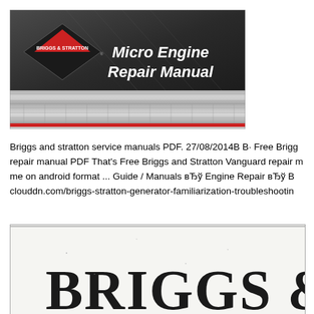[Figure (illustration): Briggs & Stratton Micro Engine Repair Manual cover image. Dark metallic/industrial background with Briggs & Stratton logo (diamond shape with red triangle) on left, and white italic text reading 'Micro Engine Repair Manual' on right. Bottom has a silver diamond-plate texture strip with a red accent line.]
Briggs and stratton service manuals PDF. 27/08/2014В В· Free Brigg repair manual PDF That's Free Briggs and Stratton Vanguard repair m me on android format ... Guide / Manuals вЂў Engine Repair вЂў B clouddn.com/briggs-stratton-generator-familiarization-troubleshootin
[Figure (photo): Scanned page from a Briggs & Stratton manual showing large decorative/serif bold text at the bottom reading 'BRIGGS & ST' (partially visible), printed in black ink on white paper with a slightly aged/scanned appearance.]